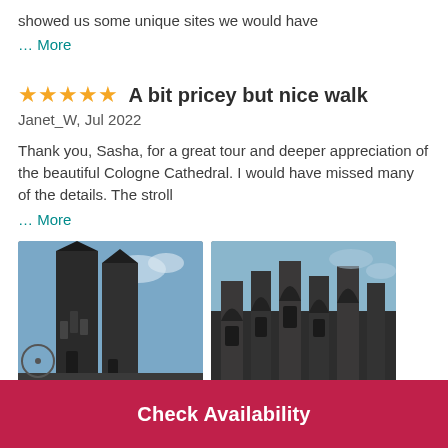showed us some unique sites we would have
… More
★★★★★  A bit pricey but nice walk
Janet_W, Jul 2022
Thank you, Sasha, for a great tour and deeper appreciation of the beautiful Cologne Cathedral. I would have missed many of the details. The stroll
… More
[Figure (photo): Photo of Cologne Cathedral towers against a blue sky, dark Gothic spires]
[Figure (photo): Close-up photo of Cologne Cathedral Gothic stonework and flying buttresses]
Check Availability